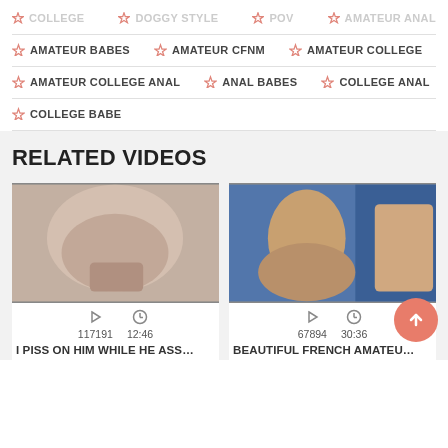AMATEUR BABES
AMATEUR CFNM
AMATEUR COLLEGE
AMATEUR COLLEGE ANAL
ANAL BABES
COLLEGE ANAL
COLLEGE BABE
RELATED VIDEOS
[Figure (photo): Video thumbnail – close-up adult content]
117191   12:46
I PISS ON HIM WHILE HE ASS…
[Figure (photo): Video thumbnail – adult content, woman posing]
67894   30:36
BEAUTIFUL FRENCH AMATEU…